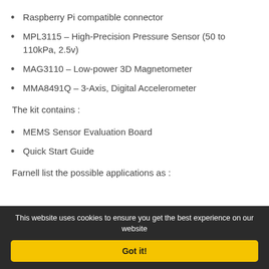Raspberry Pi compatible connector
MPL3115 – High-Precision Pressure Sensor (50 to 110kPa, 2.5v)
MAG3110 – Low-power 3D Magnetometer
MMA8491Q – 3-Axis, Digital Accelerometer
The kit contains :
MEMS Sensor Evaluation Board
Quick Start Guide
Farnell list the possible applications as :
This website uses cookies to ensure you get the best experience on our website